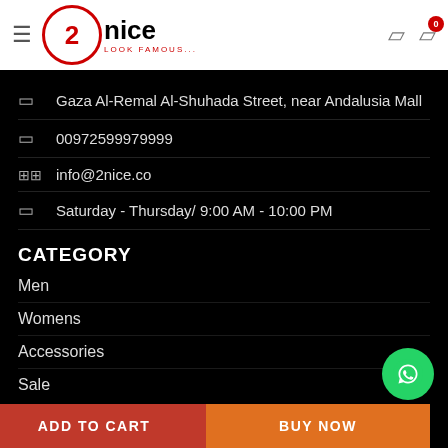2nice - Look Famous
Gaza Al-Remal Al-Shuhada Street, near Andalusia Mall
00972599979999
info@2nice.co
Saturday - Thursday/ 9:00 AM - 10:00 PM
CATEGORY
Men
Womens
Accessories
Sale
ADD TO CART    BUY NOW